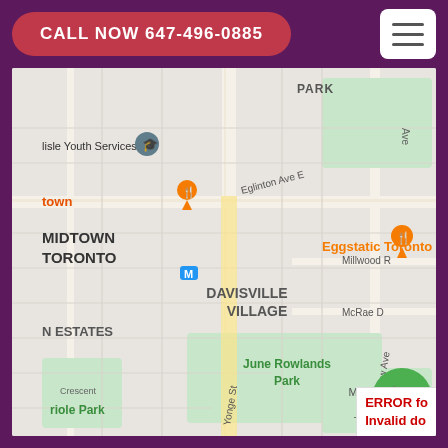CALL NOW 647-496-0885
[Figure (map): Google Maps screenshot showing Midtown Toronto area including Davisville Village, June Rowlands Park, Moore Park Ravine, Eglinton Ave E, Yonge St, Bayview Ave, with map pins for Eggstatic Toronto restaurant and other locations. A green phone button is visible in the lower right of the map.]
ERROR for site owner: Invalid do